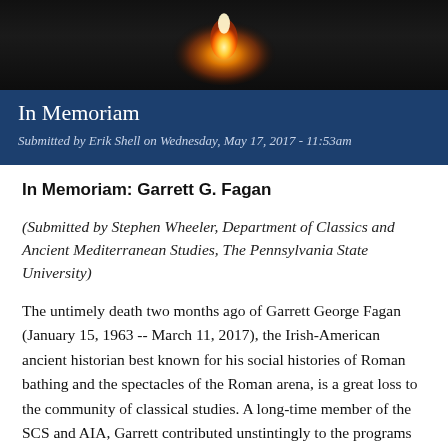[Figure (photo): Dark banner image with a candle flame glow in the center against a black background]
In Memoriam
Submitted by Erik Shell on Wednesday, May 17, 2017 - 11:53am
In Memoriam: Garrett G. Fagan
(Submitted by Stephen Wheeler, Department of Classics and Ancient Mediterranean Studies, The Pennsylvania State University)
The untimely death two months ago of Garrett George Fagan (January 15, 1963 -- March 11, 2017), the Irish-American ancient historian best known for his social histories of Roman bathing and the spectacles of the Roman arena, is a great loss to the community of classical studies. A long-time member of the SCS and AIA, Garrett contributed unstintingly to the programs of the joint annual meetings and